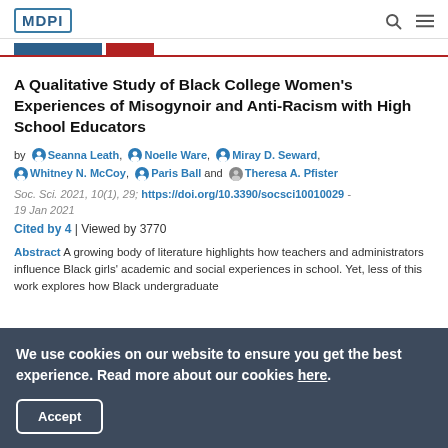MDPI
A Qualitative Study of Black College Women's Experiences of Misogynoir and Anti-Racism with High School Educators
by Seanna Leath, Noelle Ware, Miray D. Seward, Whitney N. McCoy, Paris Ball and Theresa A. Pfister
Soc. Sci. 2021, 10(1), 29; https://doi.org/10.3390/socsci10010029 - 19 Jan 2021
Cited by 4 | Viewed by 3770
Abstract A growing body of literature highlights how teachers and administrators influence Black girls' academic and social experiences in school. Yet, less of this work explores how Black undergraduate women recall their direct school experiences, particularly in...
We use cookies on our website to ensure you get the best experience. Read more about our cookies here.
Accept